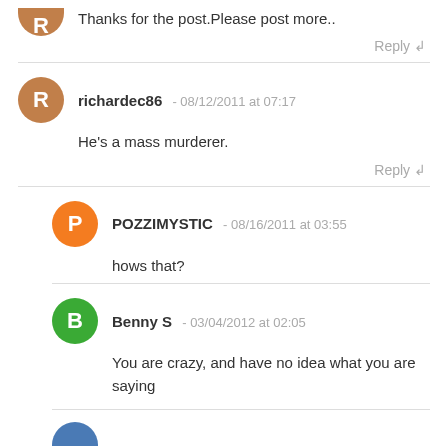Thanks for the post.Please post more..
Reply ↲
richardec86 - 08/12/2011 at 07:17
He's a mass murderer.
Reply ↲
POZZIMYSTIC - 08/16/2011 at 03:55
hows that?
Benny S - 03/04/2012 at 02:05
You are crazy, and have no idea what you are saying